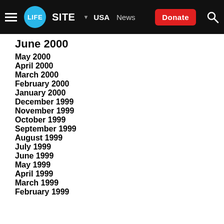LifeSite — USA News — Donate — Search
June 2000 (partial)
May 2000
April 2000
March 2000
February 2000
January 2000
December 1999
November 1999
October 1999
September 1999
August 1999
July 1999
June 1999
May 1999
April 1999
March 1999
February 1999